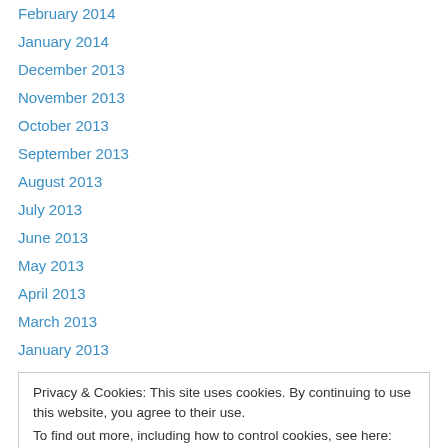February 2014
January 2014
December 2013
November 2013
October 2013
September 2013
August 2013
July 2013
June 2013
May 2013
April 2013
March 2013
January 2013
Privacy & Cookies: This site uses cookies. By continuing to use this website, you agree to their use. To find out more, including how to control cookies, see here: Cookie Policy
June 2012